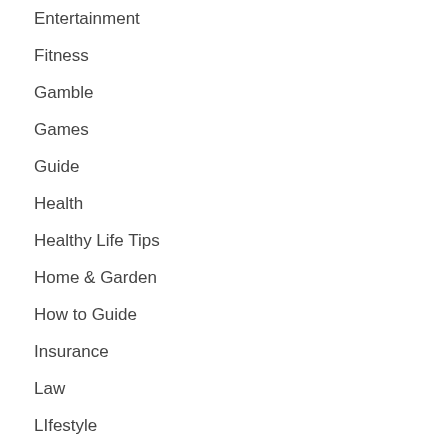Entertainment
Fitness
Gamble
Games
Guide
Health
Healthy Life Tips
Home & Garden
How to Guide
Insurance
Law
LIfestyle